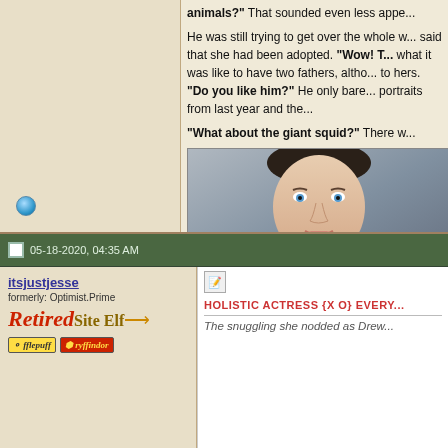animals?" That sounded even less appe...
He was still trying to get over the whole w... said that she had been adopted. "Wow! T... what it was like to have two fathers, altho... to hers. "Do you like him?" He only bare... portraits from last year and the...
"What about the giant squid?" There w...
[Figure (photo): Close-up portrait photo of a young man with blue eyes wearing a dark leather jacket, with cursive watermark text partially visible on the right side]
05-18-2020, 04:35 AM
itsjustjesse
formerly: Optimist.Prime
Retired Site Elf
HOLISTIC ACTRESS {X O} EVERY...
The snuggling she nodded as Drew...